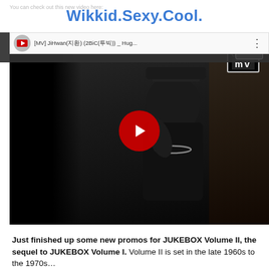Wikkid.Sexy.Cool.
You can check out this new video here:
[Figure (screenshot): YouTube video embed showing a music video titled [MV] JiHwan(지환) (2BiC(투빅)) _ Hug... with a play button overlay and Official MV badge. Shows a person in a black shirt and chain necklace wearing a snapback hat.]
Just finished up some new promos for JUKEBOX Volume II, the sequel to JUKEBOX Volume I. Volume II is set in the late 1960s to the 1970s...